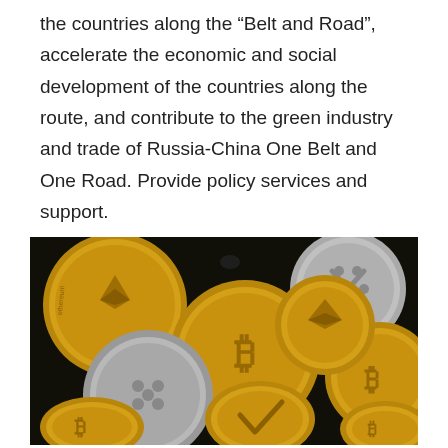the countries along the “Belt and Road”, accelerate the economic and social development of the countries along the route, and contribute to the green industry and trade of Russia-China One Belt and One Road. Provide policy services and support.
[Figure (photo): A collection of gold-colored and silver cryptocurrency coins (Bitcoin, Ethereum, Ripple, and others) scattered on a dark surface]